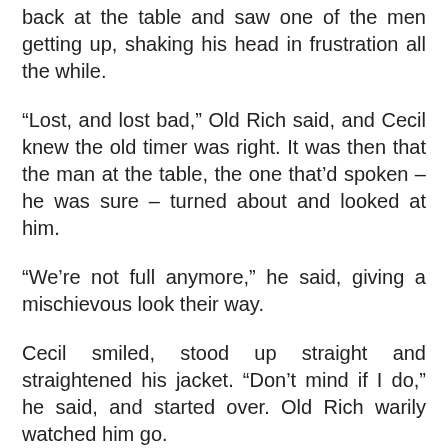back at the table and saw one of the men getting up, shaking his head in frustration all the while.
“Lost, and lost bad,” Old Rich said, and Cecil knew the old timer was right. It was then that the man at the table, the one that’d spoken – he was sure – turned about and looked at him.
“We’re not full anymore,” he said, giving a mischievous look their way.
Cecil smiled, stood up straight and straightened his jacket. “Don’t mind if I do,” he said, and started over. Old Rich warily watched him go.
“What’s the game?”
“Draw poker,” the man replied as Cecil sat down.